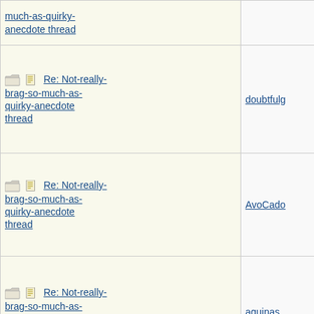| Thread Title | Author |
| --- | --- |
| much-as-quirky-anecdote thread | (cut off) |
| Re: Not-really-brag-so-much-as-quirky-anecdote thread | doubtfulg |
| Re: Not-really-brag-so-much-as-quirky-anecdote thread | AvoCado |
| Re: Not-really-brag-so-much-as-quirky-anecdote thread | aquinas |
| Re: Not-really-brag-so-much-as-quirky-anecdote thread | Elizabeth |
| Re: Not-really-brag-so-much-as-quirky-anecdote thread | HowlerKa |
| Re: Not-really-brag-so-much-as-quirky-anecdote thread | doubtfulg |